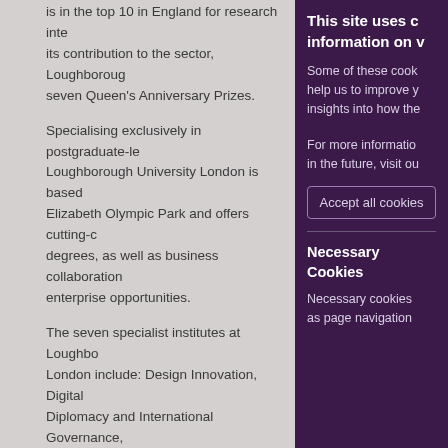is in the top 10 in England for research inte its contribution to the sector, Loughborough seven Queen's Anniversary Prizes.
Specialising exclusively in postgraduate-le Loughborough University London is based Elizabeth Olympic Park and offers cutting-e degrees, as well as business collaboration enterprise opportunities.
The seven specialist institutes at Loughbo London include: Design Innovation, Digital Diplomacy and International Governance, Entrepreneurship, International Manageme Industries, and Sport Business. Close indu wealth of leading businesses and creative teaching and learning is informed by real-li driven by true industry pressures.
This site uses c information on v
Some of these cook help us to improve y insights into how the
For more informatio in the future, visit ou
Accept all cookies
Necessary Cookies
Necessary cookies as page navigation